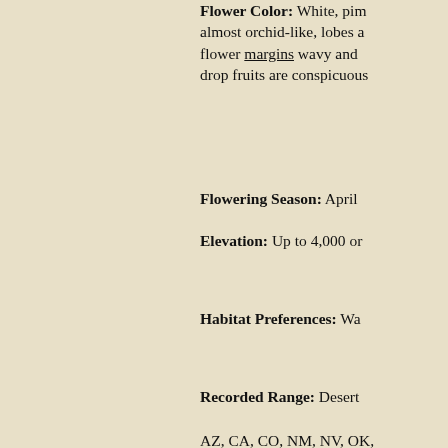Flower Color: White, pink, almost orchid-like, lobes and flower margins wavy and drop fruits are conspicuous
Flowering Season: April
Elevation: Up to 4,000 or
Habitat Preferences: Wa
Recorded Range: Desert AZ, CA, CO, NM, NV, OK, northern Mexico. In Arizona of the state, with few recor
North America & US Count
U.S. Weed Information: Invasive/Noxious Weed
Wetland Indicator: Chil Plant Listed as a Facultativ FAC: Occur in wetlands and FACU: Usually occur in non